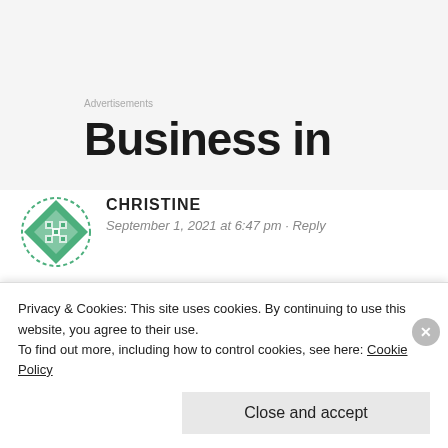[Figure (screenshot): Advertisement banner with light grey background showing 'Advertisements' label and large bold text 'Business in']
Advertisements
Business in
[Figure (illustration): Green diamond-shaped avatar icon with decorative geometric pattern]
CHRISTINE
September 1, 2021 at 6:47 pm · Reply
I have just found this when I googled it. Can anyone recommend extensions or similar for thinning hair? Preferably in the South
Privacy & Cookies: This site uses cookies. By continuing to use this website, you agree to their use.
To find out more, including how to control cookies, see here: Cookie Policy
Close and accept